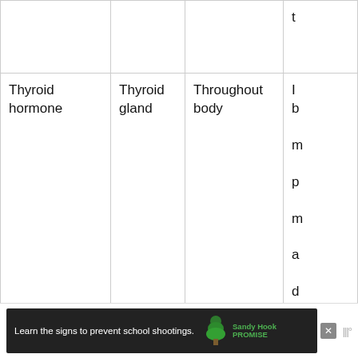| Hormone | Source | Target | Effect |
| --- | --- | --- | --- |
|  |  |  | t |
| Thyroid hormone | Thyroid gland | Throughout body | I b m p m a d |
| Parathyroid hormone | Parathyroid glands | Bones, intestines, and kidneys | R c b |
| Thymosin | Thymus | White blood cells | P g |